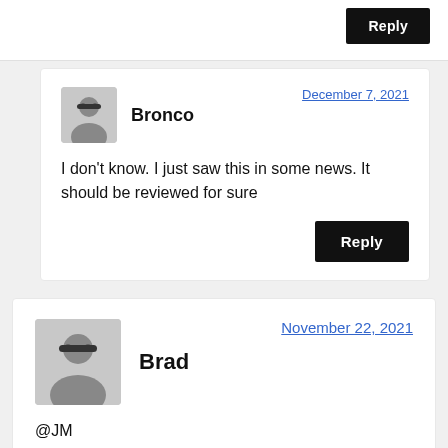Reply
Bronco
December 7, 2021
I don't know. I just saw this in some news. It should be reviewed for sure
Reply
Brad
November 22, 2021
@JM
Thanks for this but does it matter who owns…